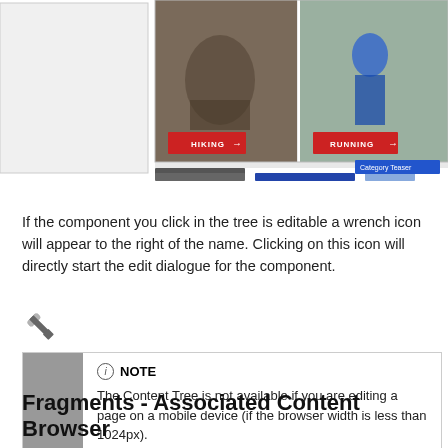[Figure (screenshot): Screenshot of a website showing outdoor activity categories with images of hiking and running, with red buttons labeled HIKING and RUNNING, and a blue navigation bar at the bottom.]
If the component you click in the tree is editable a wrench icon will appear to the right of the name. Clicking on this icon will directly start the edit dialogue for the component.
[Figure (illustration): Wrench/settings icon]
NOTE
The Content Tree is not available if you are editing a page on a mobile device (if the browser width is less than 1024px).
Fragments - Associated Content Browser